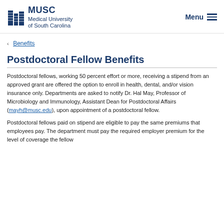MUSC Medical University of South Carolina | Menu
‹ Benefits
Postdoctoral Fellow Benefits
Postdoctoral fellows, working 50 percent effort or more, receiving a stipend from an approved grant are offered the option to enroll in health, dental, and/or vision insurance only. Departments are asked to notify Dr. Hal May, Professor of Microbiology and Immunology, Assistant Dean for Postdoctoral Affairs (mayh@musc.edu), upon appointment of a postdoctoral fellow.
Postdoctoral fellows paid on stipend are eligible to pay the same premiums that employees pay. The department must pay the required employer premium for the level of coverage the fellow